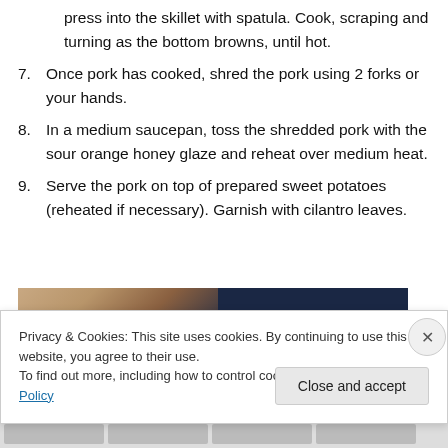press into the skillet with spatula. Cook, scraping and turning as the bottom browns, until hot.
7. Once pork has cooked, shred the pork using 2 forks or your hands.
8. In a medium saucepan, toss the shredded pork with the sour orange honey glaze and reheat over medium heat.
9. Serve the pork on top of prepared sweet potatoes (reheated if necessary). Garnish with cilantro leaves.
[Figure (photo): Partial view of food photo with dark navy blue background on right side]
Privacy & Cookies: This site uses cookies. By continuing to use this website, you agree to their use. To find out more, including how to control cookies, see here: Cookie Policy
Close and accept